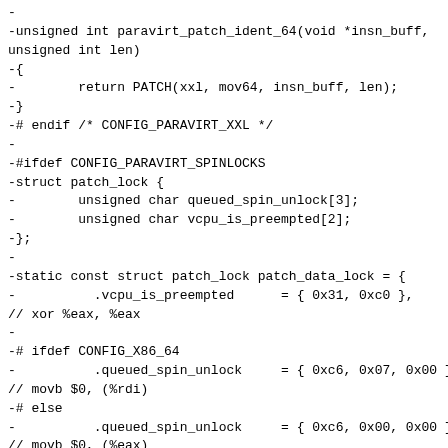-
-unsigned int paravirt_patch_ident_64(void *insn_buff,
unsigned int len)
-{
-        return PATCH(xxl, mov64, insn_buff, len);
-}
-# endif /* CONFIG_PARAVIRT_XXL */
-
-#ifdef CONFIG_PARAVIRT_SPINLOCKS
-struct patch_lock {
-        unsigned char queued_spin_unlock[3];
-        unsigned char vcpu_is_preempted[2];
-};
-
-static const struct patch_lock patch_data_lock = {
-          .vcpu_is_preempted      = { 0x31, 0xc0 },
// xor %eax, %eax
-
-# ifdef CONFIG_X86_64
-          .queued_spin_unlock     = { 0xc6, 0x07, 0x00 },
// movb $0, (%rdi)
-# else
-          .queued_spin_unlock     = { 0xc6, 0x00, 0x00 },
// movb $0, (%eax)
-# endif
-};
-#endif /* CONFIG_PARAVIRT_SPINLOCKS */
-
 unsigned int native_patch(u8 type, void *insn_buff,
unsigned long addr,